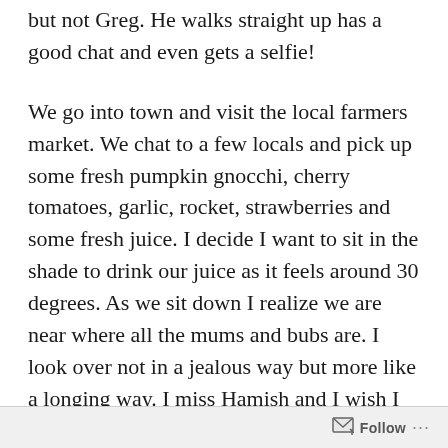but not Greg. He walks straight up has a good chat and even gets a selfie!
We go into town and visit the local farmers market. We chat to a few locals and pick up some fresh pumpkin gnocchi, cherry tomatoes, garlic, rocket, strawberries and some fresh juice. I decide I want to sit in the shade to drink our juice as it feels around 30 degrees. As we sit down I realize we are near where all the mums and bubs are. I look over not in a jealous way but more like a longing way. I miss Hamish and I wish I could hold him in my arms just one more time. His little body is now just a bunch of ashes. It's hard to come to terms with this. It's hard to believe my healthy little boy is gone
Follow ···